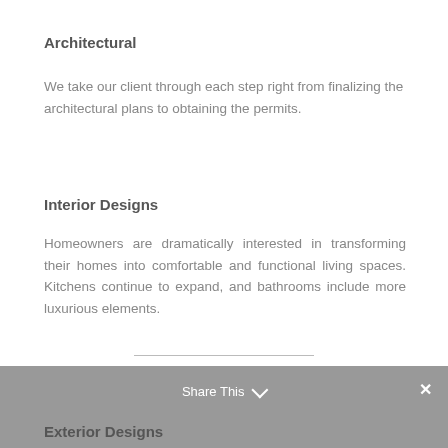Architectural
We take our client through each step right from finalizing the architectural plans to obtaining the permits.
Interior Designs
Homeowners are dramatically interested in transforming their homes into comfortable and functional living spaces. Kitchens continue to expand, and bathrooms include more luxurious elements.
Exterior Designs
Share This ✓  ✕